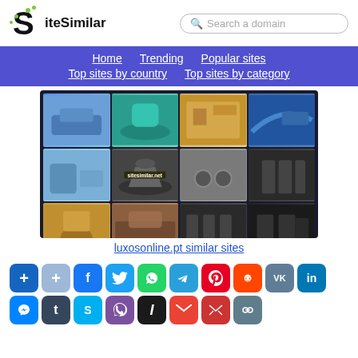[Figure (logo): SiteSimilar logo with green dots and S letter]
Search a domain
Home  Trending  Popular sites  Top sites by country  Top sites by category
[Figure (screenshot): luxosonline.pt website screenshot showing luxury lifestyle categories in a grid]
sitesimilar.net
luxosonline.pt similar sites
[Figure (infographic): Social media share buttons: add, add(light), Facebook, Twitter, WhatsApp, Telegram, Pinterest, Reddit, VK, LinkedIn, Messenger, Tumblr, Skype, Viber, Instapaper, Gmail, Email, Copy]